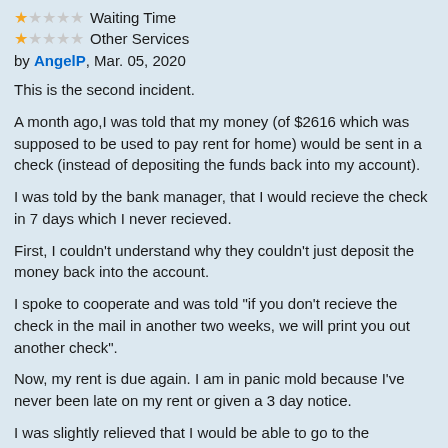★☆☆☆☆ Waiting Time
★☆☆☆☆ Other Services
by AngelP, Mar. 05, 2020
This is the second incident.
A month ago,I was told that my money (of $2616 which was supposed to be used to pay rent for home) would be sent in a check (instead of depositing the funds back into my account).
I was told by the bank manager, that I would recieve the check in 7 days which I never recieved.
First, I couldn't understand why they couldn't just deposit the money back into the account.
I spoke to cooperate and was told "if you don't recieve the check in the mail in another two weeks, we will print you out another check".
Now, my rent is due again. I am in panic mold because I've never been late on my rent or given a 3 day notice.
I was slightly relieved that I would be able to go to the